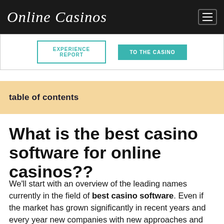Online Casinos
[Figure (screenshot): Two buttons: 'EXPERIENCE REPORT' outlined in teal, and 'TO THE CASINO' filled in teal]
table of contents
What is the best casino software for online casinos??
We'll start with an overview of the leading names currently in the field of best casino software. Even if the market has grown significantly in recent years and every year new companies with new approaches and ideas force their way onto the market, the